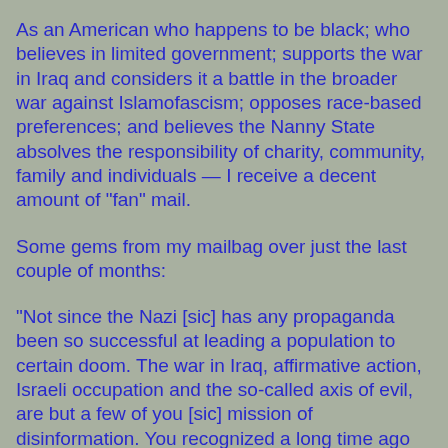As an American who happens to be black; who believes in limited government; supports the war in Iraq and considers it a battle in the broader war against Islamofascism; opposes race-based preferences; and believes the Nanny State absolves the responsibility of charity, community, family and individuals — I receive a decent amount of "fan" mail.
Some gems from my mailbag over just the last couple of months:
"Not since the Nazi [sic] has any propaganda been so successful at leading a population to certain doom. The war in Iraq, affirmative action, Israeli occupation and the so-called axis of evil, are but a few of you [sic] mission of disinformation. You recognized a long time ago that if you could speak for racist white America